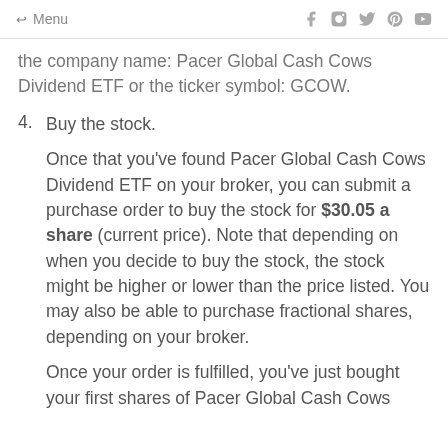← Menu
the company name: Pacer Global Cash Cows Dividend ETF or the ticker symbol: GCOW.
4. Buy the stock.
Once that you've found Pacer Global Cash Cows Dividend ETF on your broker, you can submit a purchase order to buy the stock for $30.05 a share (current price). Note that depending on when you decide to buy the stock, the stock might be higher or lower than the price listed. You may also be able to purchase fractional shares, depending on your broker.
Once your order is fulfilled, you've just bought your first shares of Pacer Global Cash Cows